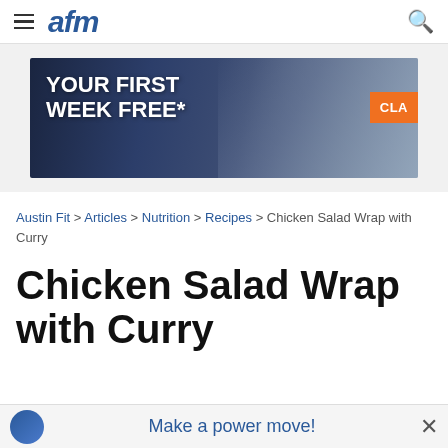afm
[Figure (photo): Advertisement banner showing gym-goers exercising with text 'YOUR FIRST WEEK FREE*' and an orange 'CLA' button on the right side]
Austin Fit > Articles > Nutrition > Recipes > Chicken Salad Wrap with Curry
Chicken Salad Wrap with Curry
[Figure (photo): Bottom sticky advertisement banner showing a logo on the left and 'Make a power move!' text in blue with a close X button]